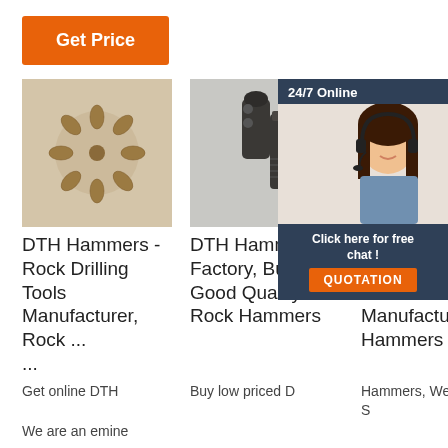Get Price
[Figure (photo): Photo of copper/bronze DTH hammer bits arranged in a circle on a light background]
[Figure (photo): Photo of dark metal DTH hammer drill bit tool components]
[Figure (photo): 24/7 Online chat widget with female customer service agent wearing headset, 'Click here for free chat!' text, and QUOTATION orange button]
DTH Hammers - Rock Drilling Tools Manufacturer, Rock ...
DTH Hammers Factory, Buy Good Quality Rock Hammers
DTH Hammers Manufacturer, DTH Hammers
Get online DTH
We are an emine
Buy low priced D
Hammers, We S